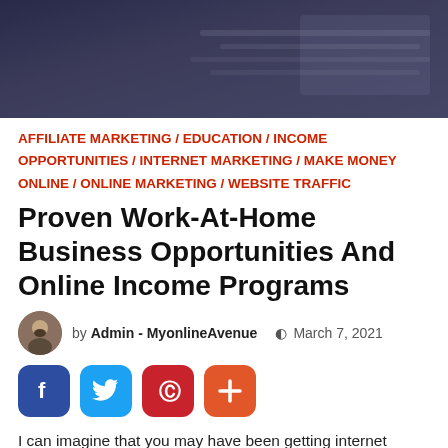[Figure (photo): Banner image showing hands on a laptop keyboard with dark overlay, displaying partial text 'That Work' in white bold serif font]
AFFILIATE MARKETING / EDUCATION / INCOME OPPORTUNITIES / INTERNET MARKETING / MAKE MONEY ONLINE / ONLINE MARKETING / WEBSITE TRAFFIC
Proven Work-At-Home Business Opportunities And Online Income Programs
by Admin - MyonlineAvenue  March 7, 2021
[Figure (infographic): Social share buttons: Facebook (blue), Twitter (light blue), Pinterest (red), More/Plus (orange)]
I can imagine that you may have been getting internet marketing programs & home business opportunities to make make money online offers flooding your inbox. I know that at some point